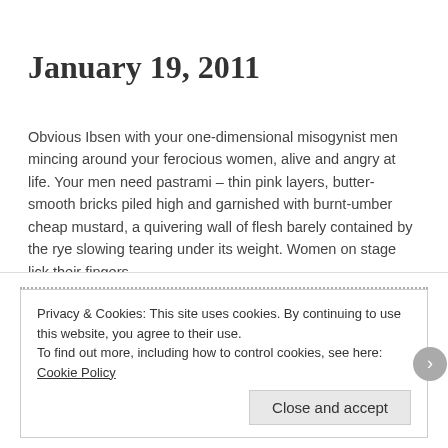January 19, 2011
Obvious Ibsen with your one-dimensional misogynist men mincing around your ferocious women, alive and angry at life. Your men need pastrami – thin pink layers, butter-smooth bricks piled high and garnished with burnt-umber cheap mustard, a quivering wall of flesh barely contained by the rye slowing tearing under its weight. Women on stage lick their fingers.
—
2011-01-19 (Wed)
Categories: Today... | Tags: food, postaday2011 | Leave a comment
Privacy & Cookies: This site uses cookies. By continuing to use this website, you agree to their use.
To find out more, including how to control cookies, see here: Cookie Policy
Close and accept